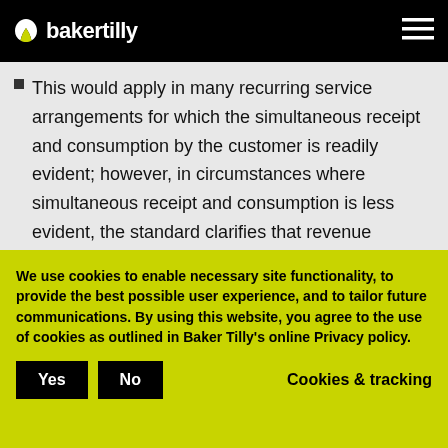bakertilly
This would apply in many recurring service arrangements for which the simultaneous receipt and consumption by the customer is readily evident; however, in circumstances where simultaneous receipt and consumption is less evident, the standard clarifies that revenue recognition over time is still appropriate when a
We use cookies to enable necessary site functionality, to provide the best possible user experience, and to tailor future communications. By using this website, you agree to the use of cookies as outlined in Baker Tilly's online Privacy policy.
Yes   No   Cookies & tracking
customer